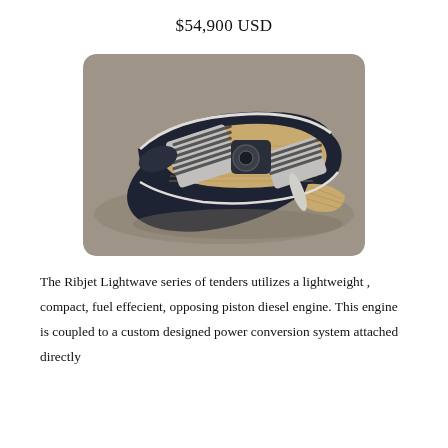$54,900 USD
[Figure (photo): Aerial/overhead view of a dark navy Ribjet Lightwave tender boat with teak wood accents, striped grey cushioned seating, a center console with steering wheel, and a teak swim platform at the stern. The boat is photographed against a grey background.]
The Ribjet Lightwave series of tenders utilizes a lightweight , compact, fuel effecient, opposing piston diesel engine. This engine is coupled to a custom designed power conversion system attached directly